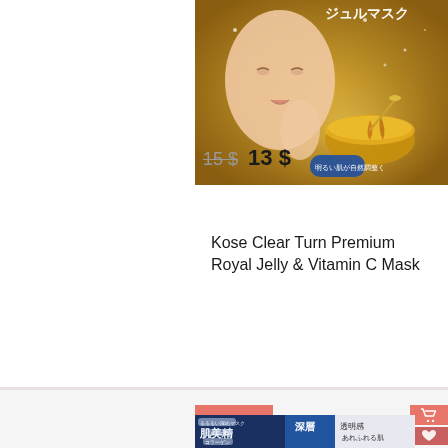[Figure (photo): Product image of Kose Clear Turn Premium Royal Jelly & Vitamin C face mask packaging with gold/brown background showing Japanese text ジュルマスク and a woman with gold face mask]
Kose Clear Turn Premium Royal Jelly & Vitamin C Mask
15 $  13 $
- 15 %
[Figure (photo): Product image of Japanese face mask box with navy blue packaging showing Japanese characters 肌美精, 深層美, ビタミンC, コラーゲン and other Japanese text on white and blue background]